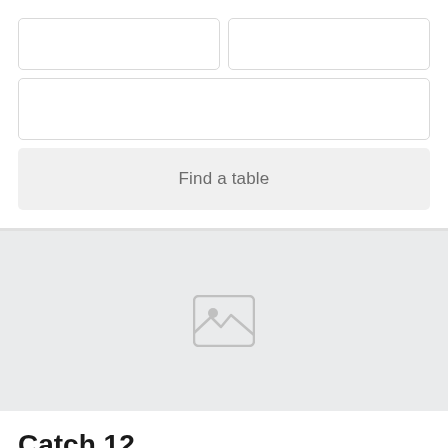[Figure (screenshot): Two empty input form boxes side by side (date/time selectors)]
[Figure (screenshot): One full-width empty input form box (party size or search field)]
Find a table
[Figure (photo): Gray placeholder image area with a generic image icon (mountain/photo placeholder)]
Catch 12
$$$$  •  American  •  Downtown
[Figure (other): Partial red star rating row at bottom of page]